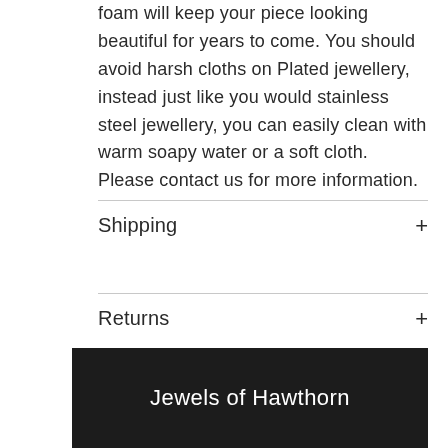foam will keep your piece looking beautiful for years to come. You should avoid harsh cloths on Plated jewellery, instead just like you would stainless steel jewellery, you can easily clean with warm soapy water or a soft cloth. Please contact us for more information.
Shipping
Returns
Jewels of Hawthorn